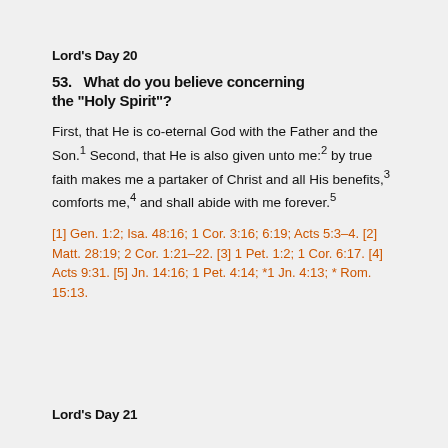Lord’s Day 20
53.   What do you believe concerning the “Holy Spirit”?
First, that He is co-eternal God with the Father and the Son.1 Second, that He is also given unto me:2 by true faith makes me a partaker of Christ and all His benefits,3 comforts me,4 and shall abide with me forever.5
[1] Gen. 1:2; Isa. 48:16; 1 Cor. 3:16; 6:19; Acts 5:3–4. [2] Matt. 28:19; 2 Cor. 1:21–22. [3] 1 Pet. 1:2; 1 Cor. 6:17. [4] Acts 9:31. [5] Jn. 14:16; 1 Pet. 4:14; *1 Jn. 4:13; * Rom. 15:13.
Lord’s Day 21